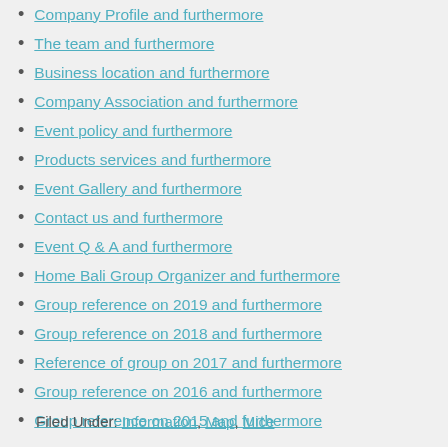Company Profile and furthermore
The team and furthermore
Business location and furthermore
Company Association and furthermore
Event policy and furthermore
Products services and furthermore
Event Gallery and furthermore
Contact us and furthermore
Event Q & A and furthermore
Home Bali Group Organizer and furthermore
Group reference on 2019 and furthermore
Group reference on 2018 and furthermore
Reference of group on 2017 and furthermore
Group reference on 2016 and furthermore
Group reference on 2015 and furthermore
Filed Under: Information, Map, Mice